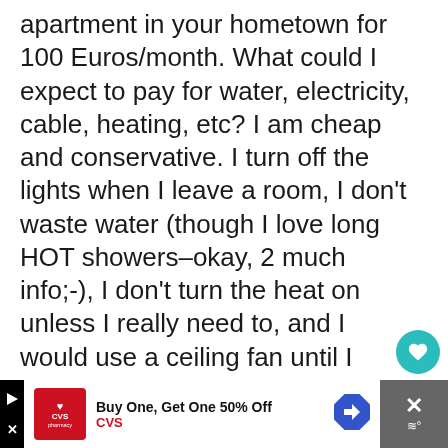apartment in your hometown for 100 Euros/month. What could I expect to pay for water, electricity, cable, heating, etc? I am cheap and conservative. I turn off the lights when I leave a room, I don't waste water (though I love long HOT showers–okay, 2 much info;-), I don't turn the heat on unless I really need to, and I would use a ceiling fan until I absolutely had to turn on the a/c.
So, as usual, a very thought-provoking article.
[Figure (other): CVS Pharmacy advertisement banner: 'Buy One, Get One 50% Off' with CVS logo and navigation arrow icon]